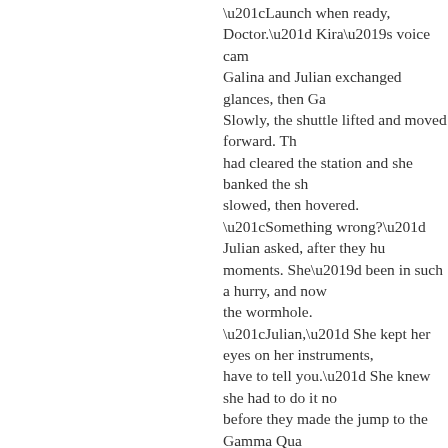“Launch when ready, Doctor.” Kira’s voice came Galina and Julian exchanged glances, then Ga Slowly, the shuttle lifted and moved forward. Th had cleared the station and she banked the sh slowed, then hovered. “Something wrong?” Julian asked, after they h moments. She’d been in such a hurry, and now the wormhole. “Julian,” She kept her eyes on her instruments, have to tell you.” She knew she had to do it no before they made the jump to the Gamma Qua to avoid it all together, but it had to be said. “Go ahead.” He kept his voice quiet, reassuring He was fairly confident that she had entered st admit it. Why else would she have refused his s “Swear it.” “What?” “What I’m about to say doesn’t leave this shutt her eyes on her panel. He understood that she meant what he was ab alone. “Go ahead.” “Swear it, or I’ll take you back to the bay and g said it, she looked hard at Julian. She was seri Julian blinked. “I swear.” Should he also cross die? He wondered. What could she possibly h